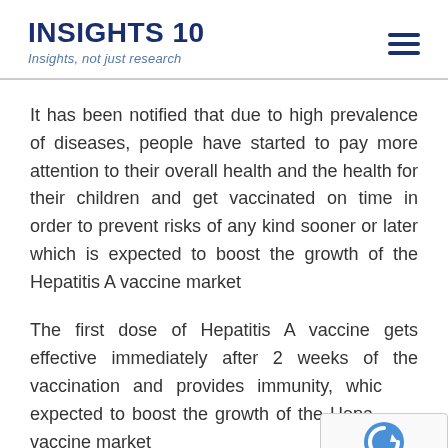INSIGHTS 10 — Insights, not just research
It has been notified that due to high prevalence of diseases, people have started to pay more attention to their overall health and the health for their children and get vaccinated on time in order to prevent risks of any kind sooner or later which is expected to boost the growth of the Hepatitis A vaccine market
The first dose of Hepatitis A vaccine gets effective immediately after 2 weeks of the vaccination and provides immunity, which is expected to boost the growth of the Hepatitis A vaccine market